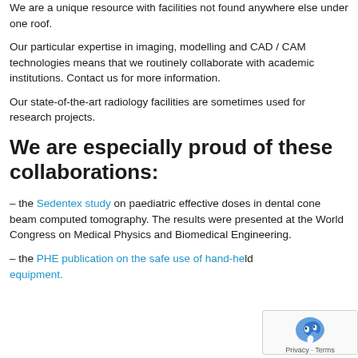We are a unique resource with facilities not found anywhere else under one roof.
Our particular expertise in imaging, modelling and CAD / CAM technologies means that we routinely collaborate with academic institutions. Contact us for more information.
Our state-of-the-art radiology facilities are sometimes used for research projects.
We are especially proud of these collaborations:
– the Sedentex study on paediatric effective doses in dental cone beam computed tomography. The results were presented at the World Congress on Medical Physics and Biomedical Engineering.
– the PHE publication on the safe use of hand-held equipment.